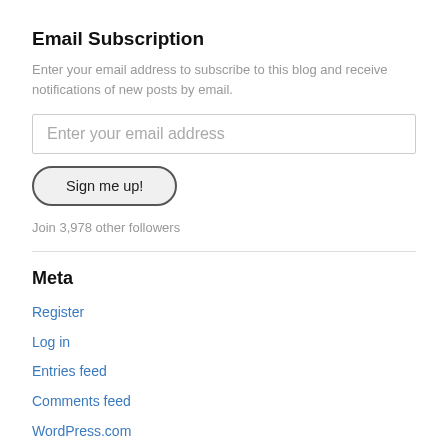Email Subscription
Enter your email address to subscribe to this blog and receive notifications of new posts by email.
Enter your email address
Sign me up!
Join 3,978 other followers
Meta
Register
Log in
Entries feed
Comments feed
WordPress.com